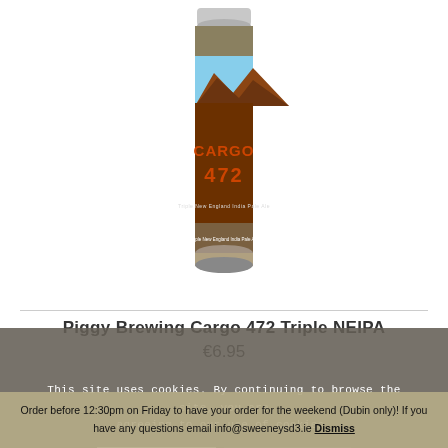[Figure (photo): A beer can labeled 'CARGO 472' with colorful illustrated label showing a landscape scene. The can has a metallic silver top and a predominantly brown/orange label with text and imagery.]
Piggy Brewing Cargo 472 Triple NEIPA
€6.95
This site uses cookies. By continuing to browse the site, you are agreeing to our use of cookies.
Accept
Settings
Order before 12:30pm on Friday to have your order for the weekend (Dubin only)! If you have any questions email info@sweeneysd3.ie Dismiss